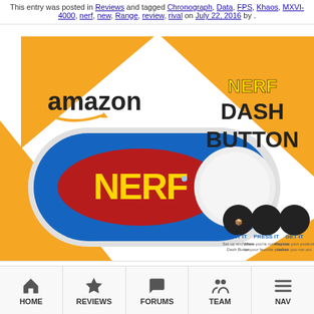This entry was posted in Reviews and tagged Chronograph, Data, FPS, Khaos, MXVI-4000, nerf, new, Range, review, rival on July 22, 2016 by .
[Figure (photo): Amazon Dash Button for Nerf product image showing the blue NERF-branded Dash Button device with orange decorative background, Amazon logo, NERF logo, and three step icons: SET IT, PRESS IT, GET IT]
Review: Amazon Dash Button for Nerf
HOME | REVIEWS | FORUMS | TEAM | NAV